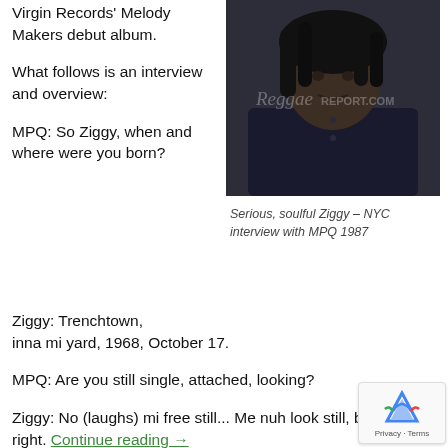Virgin Records' Melody Makers debut album.
What follows is an interview and overview:
MPQ: So Ziggy, when and where were you born?
[Figure (photo): Black and white photo of a young Ziggy Marley with dreadlocks, wearing a dark shirt, with a watermark reading Reggae Report .com]
Serious, soulful Ziggy – NYC interview with MPQ 1987
Ziggy: Trenchtown, inna mi yard, 1968, October 17.
MPQ: Are you still single, attached, looking?
Ziggy: No (laughs) mi free still... Me nuh look still, but right. Continue reading →